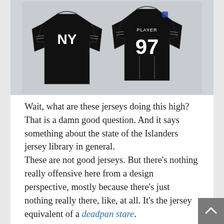[Figure (photo): Two black New York Islanders hockey jerseys — one showing the front with 'NY' logo, the other showing the back with 'PLAYER 97' on a dark/grey background]
Wait, what are these jerseys doing this high? That is a damn good question. And it says something about the state of the Islanders jersey library in general.
These are not good jerseys. But there's nothing really offensive here from a design perspective, mostly because there's just nothing really there, like, at all. It's the jersey equivalent of a deadpan stare.